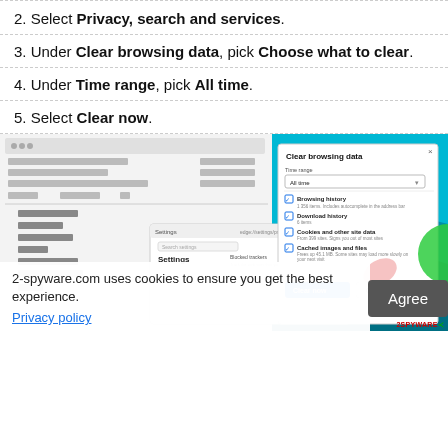2. Select Privacy, search and services.
3. Under Clear browsing data, pick Choose what to clear.
4. Under Time range, pick All time.
5. Select Clear now.
[Figure (screenshot): Screenshot of Microsoft Edge browser showing the Clear browsing data dialog with options including Browsing history, Download history, Cookies and other site data, and Cached images and files, with Time range set to All time and a Clear now button highlighted.]
2-spyware.com uses cookies to ensure you get the best experience.
Privacy policy
Agree